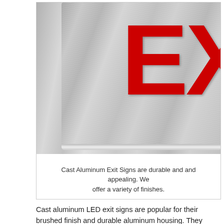[Figure (photo): Close-up photograph of a cast aluminum exit sign with brushed aluminum finish and large red 'EX' letters visible (partial view of 'EXIT'). The sign has a metallic silver/gray brushed aluminum housing.]
Cast Aluminum Exit Signs are durable and and appealing. We offer a variety of finishes.
Cast aluminum LED exit signs are popular for their brushed finish and durable aluminum housing. They